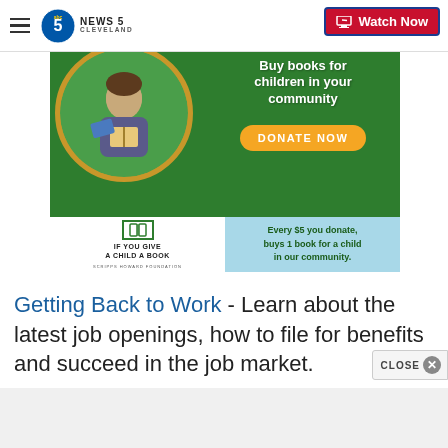NEWS 5 CLEVELAND - Watch Now
[Figure (infographic): If You Give a Child a Book - Scripps Howard Foundation advertisement. Green banner with child reading books, Donate Now orange button, light blue panel: Every $5 you donate, buys 1 book for a child in our community.]
Getting Back to Work - Learn about the latest job openings, how to file for benefits and succeed in the job market.